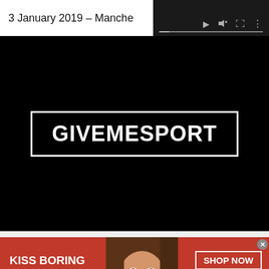3 January 2019 – Manche
[Figure (screenshot): Video player controls overlay with play button, mute icon, fullscreen icon, more options icon, and a progress bar on a dark background]
[Figure (logo): GiveMeSport logo — white bold text 'GIVEMESPORT' inside a white rectangle border on a black background, embedded in a video player]
[Figure (photo): Advertisement banner: Macy's lipstick ad with red background, text 'KISS BORING LIPS GOODBYE', photo of woman's face with red lips in center, 'SHOP NOW' button and Macy's star logo on right]